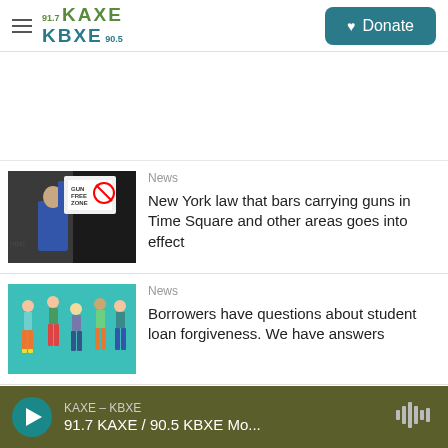KAXE 91.7 / KBXE 90.5 — Donate
[Figure (photo): Person holding a Gun Free Zone sign]
News
New York law that bars carrying guns in Time Square and other areas goes into effect
[Figure (illustration): Colorful illustration of people on a teal background]
News
Borrowers have questions about student loan forgiveness. We have answers
KAXE – KBXE  91.7 KAXE / 90.5 KBXE Mo...